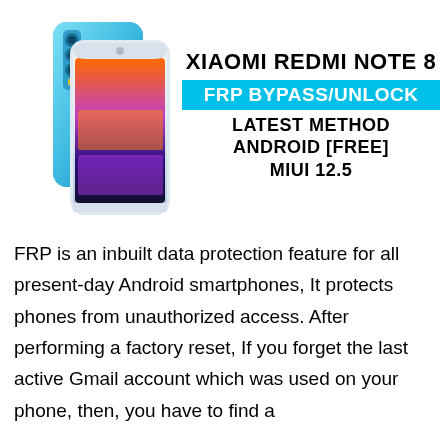[Figure (illustration): Two Xiaomi Redmi Note 8 smartphones shown from the front and back, one in blue/teal and one in white/light color, with quad-camera setup visible on the back.]
XIAOMI REDMI NOTE 8
FRP BYPASS/UNLOCK
LATEST METHOD
ANDROID [FREE]
MIUI 12.5
FRP is an inbuilt data protection feature for all present-day Android smartphones, It protects phones from unauthorized access. After performing a factory reset, If you forget the last active Gmail account which was used on your phone, then, you have to find a